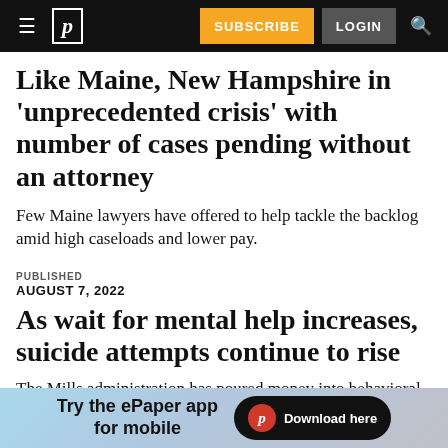Portland Press Herald navigation bar with hamburger menu, logo, SUBSCRIBE, LOGIN, search
Like Maine, New Hampshire in 'unprecedented crisis' with number of cases pending without an attorney
Few Maine lawyers have offered to help tackle the backlog amid high caseloads and lower pay.
PUBLISHED
AUGUST 7, 2022
As wait for mental help increases, suicide attempts continue to rise
The Mills administration has poured money into behavioral health services, but one expert says
[Figure (screenshot): Advertisement banner: Try the ePaper app for mobile — Download here button with Portland Press Herald logo]